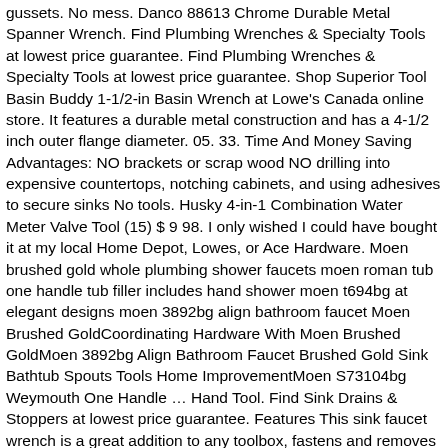gussets. No mess. Danco 88613 Chrome Durable Metal Spanner Wrench. Find Plumbing Wrenches & Specialty Tools at lowest price guarantee. Find Plumbing Wrenches & Specialty Tools at lowest price guarantee. Shop Superior Tool Basin Buddy 1-1/2-in Basin Wrench at Lowe's Canada online store. It features a durable metal construction and has a 4-1/2 inch outer flange diameter. 05. 33. Time And Money Saving Advantages: NO brackets or scrap wood NO drilling into expensive countertops, notching cabinets, and using adhesives to secure sinks No tools. Husky 4-in-1 Combination Water Meter Valve Tool (15) $ 9 98. I only wished I could have bought it at my local Home Depot, Lowes, or Ace Hardware. Moen brushed gold whole plumbing shower faucets moen roman tub one handle tub filler includes hand shower moen t694bg at elegant designs moen 3892bg align bathroom faucet Moen Brushed GoldCoordinating Hardware With Moen Brushed GoldMoen 3892bg Align Bathroom Faucet Brushed Gold Sink Bathtub Spouts Tools Home ImprovementMoen S73104bg Weymouth One Handle … Hand Tool. Find Sink Drains & Stoppers at lowest price guarantee. Features This sink faucet wrench is a great addition to any toolbox, fastens and removes all kinds of plastic basin nuts and supply line nuts, along with 1-inch and 7/8-inch hex nuts.The extra-long design is